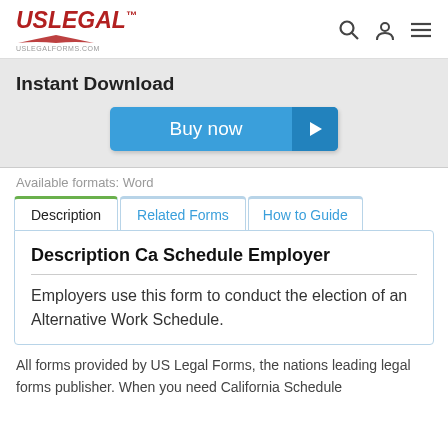USLegal™ uslegalforms.com
Instant Download
[Figure (other): Blue 'Buy now' button with arrow icon]
Available formats: Word
Description | Related Forms | How to Guide
Description Ca Schedule Employer
Employers use this form to conduct the election of an Alternative Work Schedule.
All forms provided by US Legal Forms, the nations leading legal forms publisher. When you need California Schedule